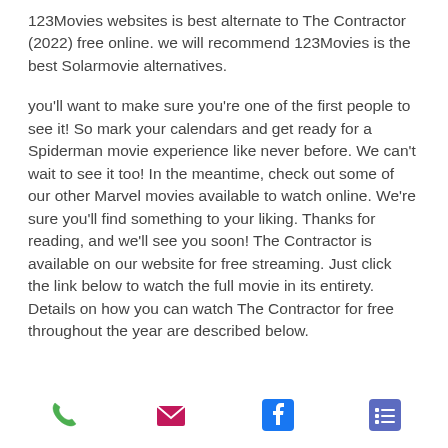123Movies websites is best alternate to The Contractor (2022) free online. we will recommend 123Movies is the best Solarmovie alternatives.
you'll want to make sure you're one of the first people to see it! So mark your calendars and get ready for a Spiderman movie experience like never before. We can't wait to see it too! In the meantime, check out some of our other Marvel movies available to watch online. We're sure you'll find something to your liking. Thanks for reading, and we'll see you soon! The Contractor is available on our website for free streaming. Just click the link below to watch the full movie in its entirety. Details on how you can watch The Contractor for free throughout the year are described below.
[Figure (infographic): Four social/contact icons in a row: green phone, magenta/pink envelope, blue Facebook, blue-purple list/menu icon]